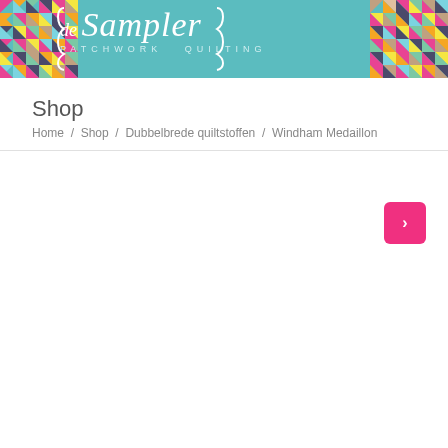[Figure (logo): de Sampler patchwork quilting shop banner with colorful triangle patchwork pattern on teal/turquoise background]
Shop
Home / Shop / Dubbelbrede quiltstoffen / Windham Medaillon
[Figure (other): Pink rounded square button with white arrow/navigation icon]